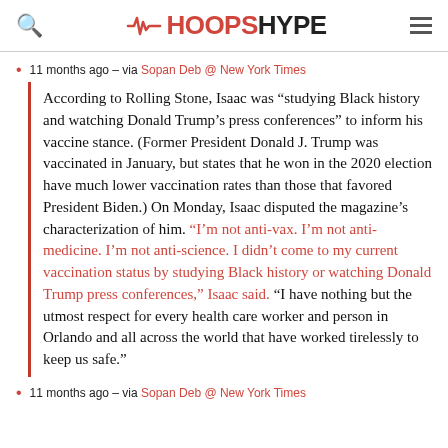HOOPSHYPE
11 months ago – via Sopan Deb @ New York Times
According to Rolling Stone, Isaac was “studying Black history and watching Donald Trump’s press conferences” to inform his vaccine stance. (Former President Donald J. Trump was vaccinated in January, but states that he won in the 2020 election have much lower vaccination rates than those that favored President Biden.) On Monday, Isaac disputed the magazine’s characterization of him. “I’m not anti-vax. I’m not anti-medicine. I’m not anti-science. I didn’t come to my current vaccination status by studying Black history or watching Donald Trump press conferences,” Isaac said. “I have nothing but the utmost respect for every health care worker and person in Orlando and all across the world that have worked tirelessly to keep us safe.”
11 months ago – via Sopan Deb @ New York Times